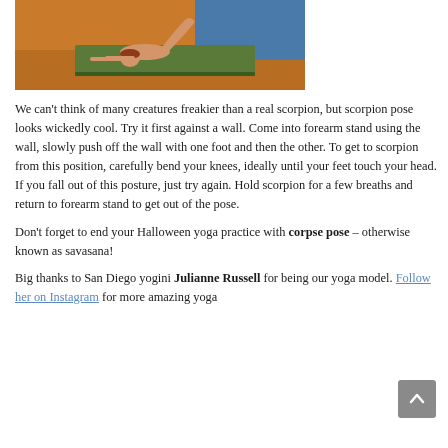[Figure (photo): A person performing a yoga scorpion pose on a green mat on a wooden floor, viewed from the side.]
We can't think of many creatures freakier than a real scorpion, but scorpion pose looks wickedly cool. Try it first against a wall. Come into forearm stand using the wall, slowly push off the wall with one foot and then the other. To get to scorpion from this position, carefully bend your knees, ideally until your feet touch your head. If you fall out of this posture, just try again. Hold scorpion for a few breaths and return to forearm stand to get out of the pose.
Don't forget to end your Halloween yoga practice with corpse pose – otherwise known as savasana!
Big thanks to San Diego yogini Julianne Russell for being our yoga model. Follow her on Instagram for more amazing yoga